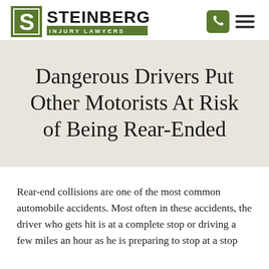[Figure (logo): Steinberg Injury Lawyers logo with stylized S icon and green bar with 'INJURY LAWYERS' text]
Dangerous Drivers Put Other Motorists At Risk of Being Rear-Ended
Rear-end collisions are one of the most common automobile accidents. Most often in these accidents, the driver who gets hit is at a complete stop or driving a few miles an hour as he is preparing to stop at a stop